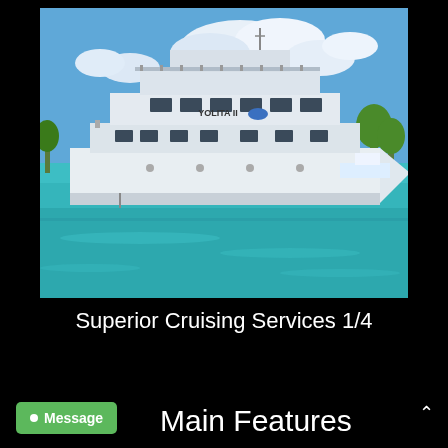[Figure (photo): White luxury cruise yacht named 'Yolita II' floating on turquoise water with blue sky and clouds in the background]
Superior Cruising Services 1/4
Message
Main Features